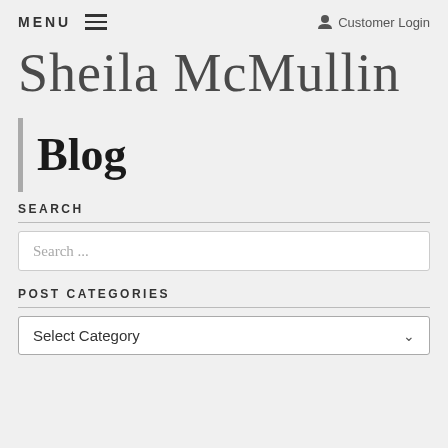MENU  Customer Login
Sheila McMullin
Blog
SEARCH
Search ...
POST CATEGORIES
Select Category